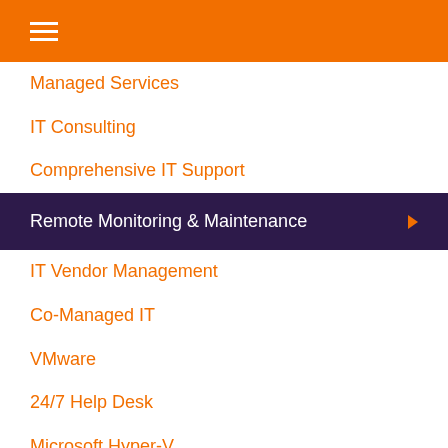☰
Managed Services
IT Consulting
Comprehensive IT Support
Remote Monitoring & Maintenance
IT Vendor Management
Co-Managed IT
VMware
24/7 Help Desk
Microsoft Hyper-V
Desktop Monitoring and Management
Infrastructure Support Services